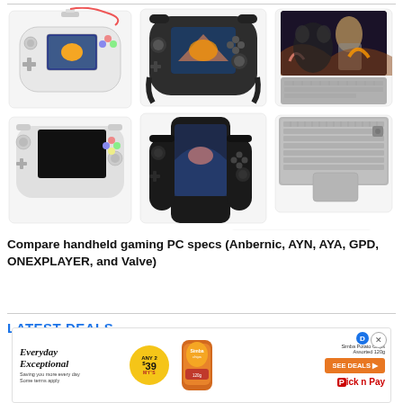[Figure (photo): Collage of multiple handheld gaming PC devices including Anbernic, AYA NEO, Steam Deck, ONEXPLAYER mini laptop, Logitech G Cloud, and other handheld gaming consoles arranged in a grid-like composition.]
Compare handheld gaming PC specs (Anbernic, AYN, AYA, GPD, ONEXPLAYER, and Valve)
LATEST DEALS
[Figure (other): Advertisement banner for Pick n Pay showing 'Everyday Exceptional' branding with a yellow circle showing 'ANY 2 $39' deal, Simba Potato Chips Assorted 120g product image, SEE DEALS button in orange, and Pick n Pay logo.]